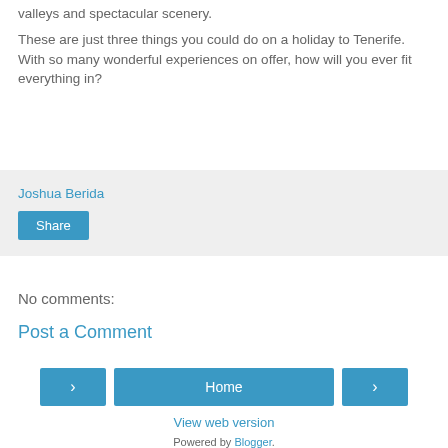valleys and spectacular scenery.
These are just three things you could do on a holiday to Tenerife. With so many wonderful experiences on offer, how will you ever fit everything in?
Joshua Berida
Share
No comments:
Post a Comment
‹
Home
›
View web version
Powered by Blogger.